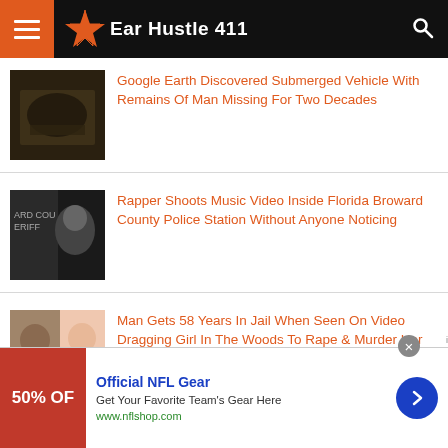Ear Hustle 411
Google Earth Discovered Submerged Vehicle With Remains Of Man Missing For Two Decades
Rapper Shoots Music Video Inside Florida Broward County Police Station Without Anyone Noticing
Man Gets 58 Years In Jail When Seen On Video Dragging Girl In The Woods To Rape & Murder Her
[Figure (other): Advertisement banner: Official NFL Gear - 50% OFF - Get Your Favorite Team's Gear Here - www.nflshop.com]